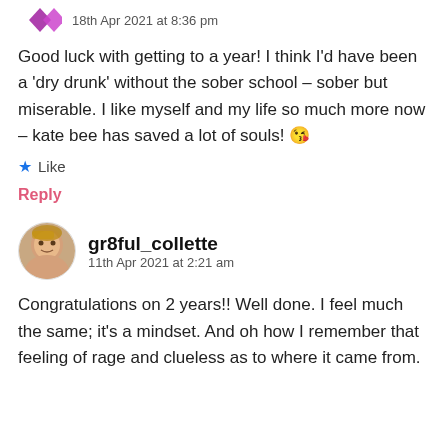18th Apr 2021 at 8:36 pm
Good luck with getting to a year! I think I'd have been a 'dry drunk' without the sober school – sober but miserable. I like myself and my life so much more now – kate bee has saved a lot of souls! 😘
★ Like
Reply
gr8ful_collette
11th Apr 2021 at 2:21 am
Congratulations on 2 years!! Well done. I feel much the same; it's a mindset. And oh how I remember that feeling of rage and clueless as to where it came from.